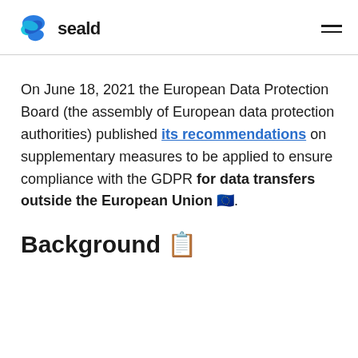seald
On June 18, 2021 the European Data Protection Board (the assembly of European data protection authorities) published its recommendations on supplementary measures to be applied to ensure compliance with the GDPR for data transfers outside the European Union 🇪🇺.
Background 📋